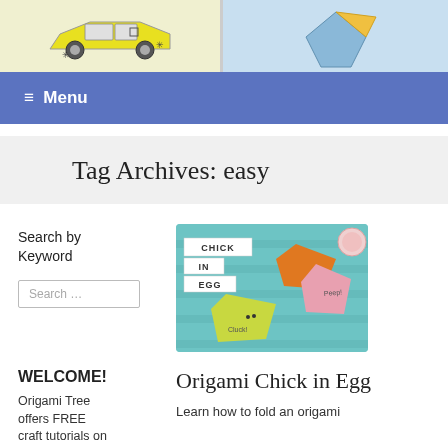[Figure (illustration): Top strip showing two images: left panel has a yellow paper car origami on light background, right panel has blue background with origami figure]
≡ Menu
Tag Archives: easy
Search by Keyword
[Figure (photo): Origami chick in egg craft photo showing colorful paper origami chicks with CHICK IN EGG label]
Search …
WELCOME!
Origami Chick in Egg
Origami Tree offers FREE craft tutorials on
Learn how to fold an origami